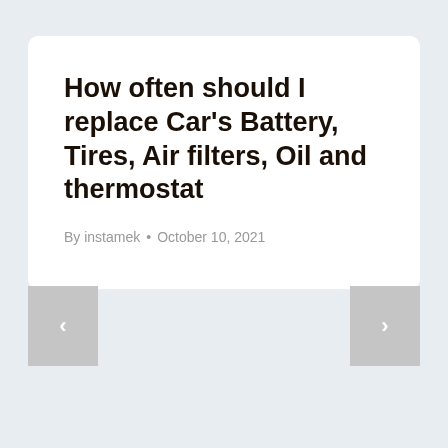How often should I replace Car’s Battery, Tires, Air filters, Oil and thermostat
By instamek • October 10, 2021